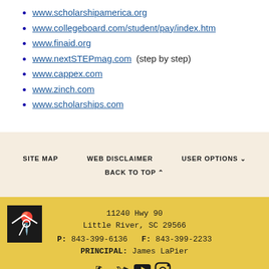www.scholarshipamerica.org
www.collegeboard.com/student/pay/index.htm
www.finaid.org
www.nextSTEPmag.com  (step by step)
www.cappex.com
www.zinch.com
www.scholarships.com
SITE MAP   WEB DISCLAIMER   USER OPTIONS   BACK TO TOP
11240 Hwy 90
Little River, SC 29566
P: 843-399-6136  F: 843-399-2233
PRINCIPAL: James LaPier
[Figure (logo): School logo with map pin icon on black background]
[Figure (infographic): Social media icons: Facebook, Twitter, YouTube, Instagram]
INSPIRING POSSIBILITIES